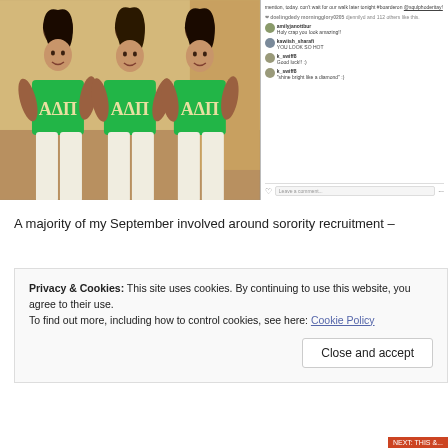[Figure (screenshot): Instagram screenshot showing three women in green Alpha Delta Pi sorority shirts on the left, and Instagram comments on the right including comments 'Holy crap you look amazing!!', 'YOU LOOK SO HOT', 'Good luck!! :)', and '"shine bright like a diamond" :)']
A majority of my September involved around sorority recruitment –
Privacy & Cookies: This site uses cookies. By continuing to use this website, you agree to their use. To find out more, including how to control cookies, see here: Cookie Policy
Close and accept